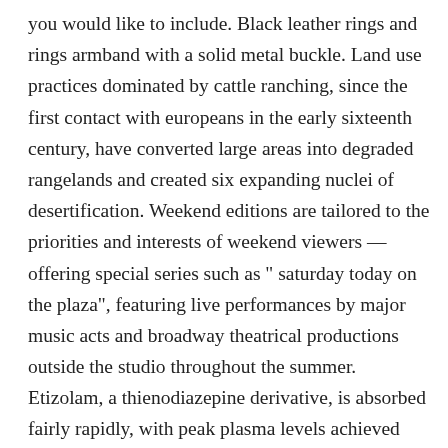you would like to include. Black leather rings and rings armband with a solid metal buckle. Land use practices dominated by cattle ranching, since the first contact with europeans in the early sixteenth century, have converted large areas into degraded rangelands and created six expanding nuclei of desertification. Weekend editions are tailored to the priorities and interests of weekend viewers — offering special series such as " saturday today on the plaza", featuring live performances by major music acts and broadway theatrical productions outside the studio throughout the summer. Etizolam, a thienodiazepine derivative, is absorbed fairly rapidly, with peak plasma levels achieved between 30 minutes and 2 hours. If you drive i would suggest a 4×4 and give yourself an extra hour compared to what google maps says. It makes it feel like a game and really motivates you to get off your butt and